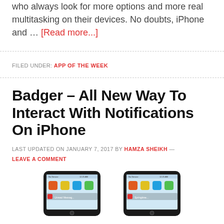who always look for more options and more real multitasking on their devices. No doubts, iPhone and … [Read more...]
FILED UNDER: APP OF THE WEEK
Badger – All New Way To Interact With Notifications On iPhone
LAST UPDATED ON JANUARY 7, 2017 BY HAMZA SHEIKH — LEAVE A COMMENT
[Figure (photo): Two iPhones side by side showing notification screens]